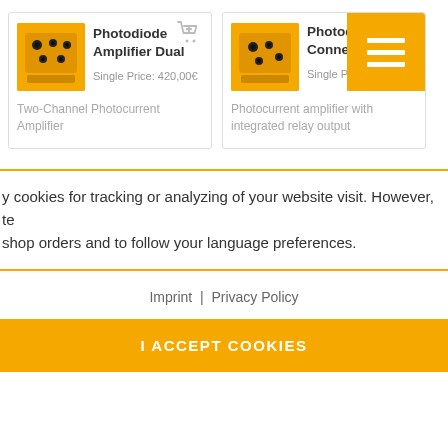[Figure (photo): Product card for Photodiode Amplifier Dual - yellow device photo, shopping cart icon, name, price 420,00€, description: Two-Channel Photocurrent Amplifier]
[Figure (photo): Product card for Photodiode Connect - yellow device photo, orange menu overlay, name, price 450,00€, description: Photocurrent amplifier with integrated relay output]
y cookies for tracking or analyzing of your website visit. However, te shop orders and to follow your language preferences.
Imprint | Privacy Policy
I ACCEPT COOKIES